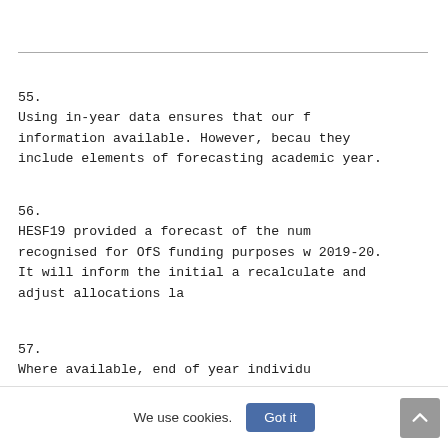55.  Using in-year data ensures that our f information available. However, becau they include elements of forecasting academic year.
56.  HESF19 provided a forecast of the num recognised for OfS funding purposes w 2019-20. It will inform the initial a recalculate and adjust allocations la
57.  Where available, end of year individu
a.   For further education and six